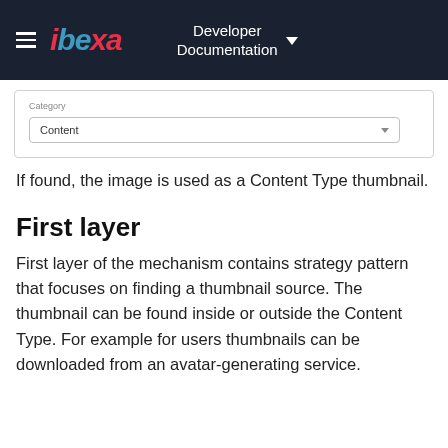ibeka Developer Documentation
[Figure (screenshot): A UI form screenshot showing a 'Category' label with a dropdown field containing the value 'Content']
If found, the image is used as a Content Type thumbnail.
First layer
First layer of the mechanism contains strategy pattern that focuses on finding a thumbnail source. The thumbnail can be found inside or outside the Content Type. For example for users thumbnails can be downloaded from an avatar-generating service.